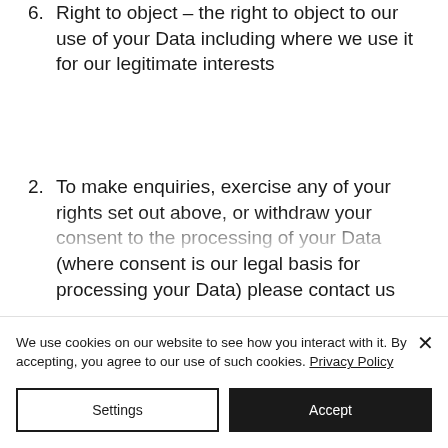6. Right to object – the right to object to our use of your Data including where we use it for our legitimate interests
2. To make enquiries, exercise any of your rights set out above, or withdraw your consent to the processing of your Data (where consent is our legal basis for processing your Data) please contact us
We use cookies on our website to see how you interact with it. By accepting, you agree to our use of such cookies. Privacy Policy